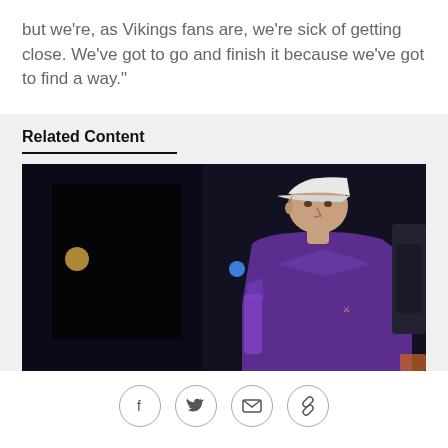but we're, as Vikings fans are, we're sick of getting close. We've got to go and finish it because we've got to find a way."
Related Content
[Figure (photo): A man wearing a white cap and purple Minnesota Vikings hoodie, standing indoors in a sports arena setting. The background is dark.]
[Figure (infographic): Social sharing icons row: Facebook (f), Twitter (bird), Email (envelope), Link/share icon — all in circular outlined buttons]